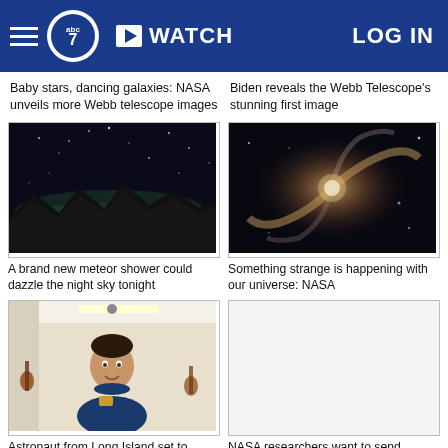abc7 | WATCH | LOG IN
Baby stars, dancing galaxies: NASA unveils more Webb telescope images
Biden reveals the Webb Telescope's stunning first image
[Figure (photo): Night sky with mountains and northern lights]
A brand new meteor shower could dazzle the night sky tonight
[Figure (photo): Spiral galaxies swirling in space]
Something strange is happening with our universe: NASA
[Figure (photo): Woman in astronaut suit smiling indoors]
Astronaut from Long Island set to
[Figure (photo): Blank/loading image placeholder]
NASA researchers want to send